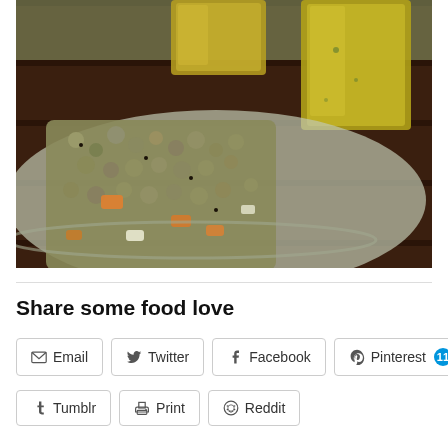[Figure (photo): Close-up photo of an Indian food dish — a grain/rice mixture with vegetables on a steel plate, alongside two glasses of yellow-green liquid (dal or juice), on a dark wooden table.]
Share some food love
Email
Twitter
Facebook
Pinterest 11
Tumblr
Print
Reddit